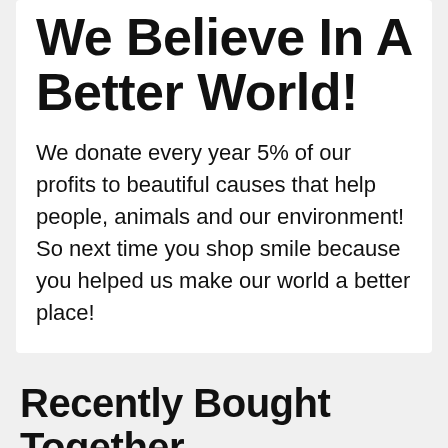We Believe In A Better World!
We donate every year 5% of our profits to beautiful causes that help people, animals and our environment! So next time you shop smile because you helped us make our world a better place!
Recently Bought Together